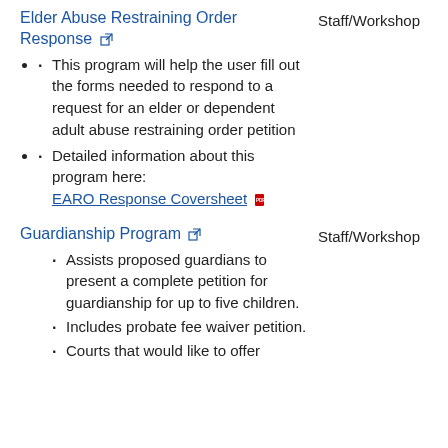Elder Abuse Restraining Order Response
Staff/Workshop
This program will help the user fill out the forms needed to respond to a request for an elder or dependent adult abuse restraining order petition
Detailed information about this program here: EARO Response Coversheet
Guardianship Program
Staff/Workshop
Assists proposed guardians to present a complete petition for guardianship for up to five children.
Includes probate fee waiver petition.
Courts that would like to offer